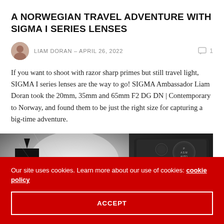A NORWEGIAN TRAVEL ADVENTURE WITH SIGMA I SERIES LENSES
LIAM DORAN – APRIL 26, 2022
If you want to shoot with razor sharp primes but still travel light, SIGMA I series lenses are the way to go! SIGMA Ambassador Liam Doran took the 20mm, 35mm and 65mm F2 DG DN | Contemporary to Norway, and found them to be just the right size for capturing a big-time adventure.
[Figure (photo): Black and white photo showing a camera body (top-down view with dials and controls visible) alongside a dark cityscape/building silhouette against a bright dramatic sky.]
Our site uses cookies. Learn more about our use of cookies: cookie policy
ACCEPT